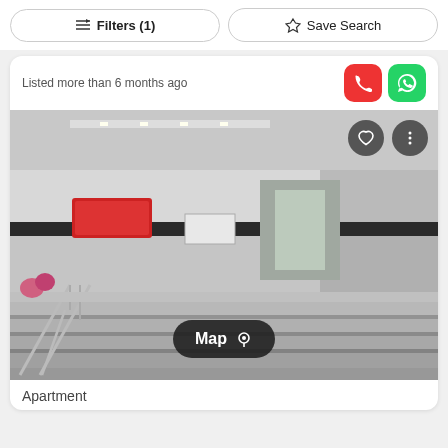Filters (1)   Save Search
Listed more than 6 months ago
[Figure (photo): Interior photo of a building lobby/entrance with marble steps, metal railings, white marble walls with dark horizontal stripe, a red sign on the wall, recessed lighting in the ceiling, and a long corridor leading to glass doors at the far end.]
Apartment